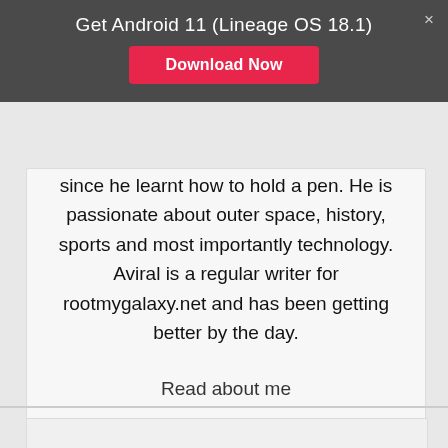Get Android 11 (Lineage OS 18.1)
Download Now
since he learnt how to hold a pen. He is passionate about outer space, history, sports and most importantly technology. Aviral is a regular writer for rootmygalaxy.net and has been getting better by the day.
Read about me